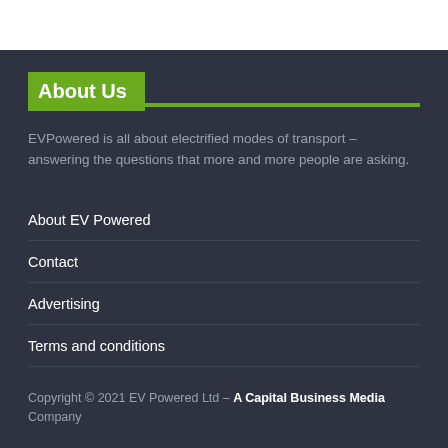About Us
EVPowered is all about electrified modes of transport – answering the questions that more and more people are asking.
About EV Powered
Contact
Advertising
Terms and conditions
Copyright © 2021 EV Powered Ltd – A Capital Business Media Company